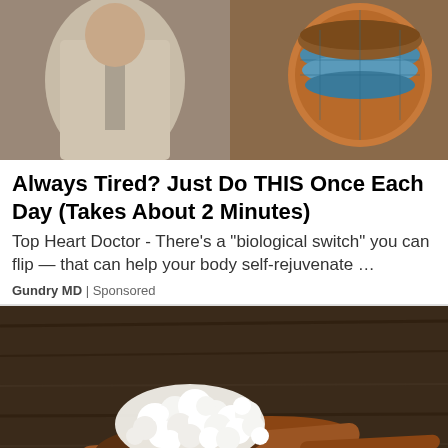[Figure (photo): Composite image: a person in a suit on the left and a circular geological/soil cross-section diagram on the right, showing layered earth in brown and blue.]
Always Tired? Just Do THIS Once Each Day (Takes About 2 Minutes)
Top Heart Doctor - There’s a “biological switch” you can flip — that can help your body self-rejuvenate …
Gundry MD | Sponsored
[Figure (photo): A wooden spoon holding white kefir grains or cottage cheese curds on a rustic wood surface background.]